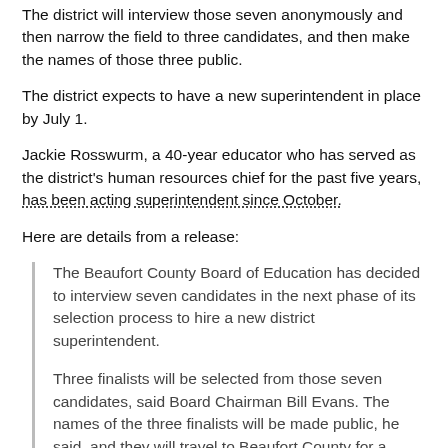The district will interview those seven anonymously and then narrow the field to three candidates, and then make the names of those three public.
The district expects to have a new superintendent in place by July 1.
Jackie Rosswurm, a 40-year educator who has served as the district's human resources chief for the past five years, has been acting superintendent since October.
Here are details from a release:
The Beaufort County Board of Education has decided to interview seven candidates in the next phase of its selection process to hire a new district superintendent.
Three finalists will be selected from those seven candidates, said Board Chairman Bill Evans. The names of the three finalists will be made public, he said, and they will travel to Beaufort County for a second round of interviews and also to attend public forums with local parents, educators and